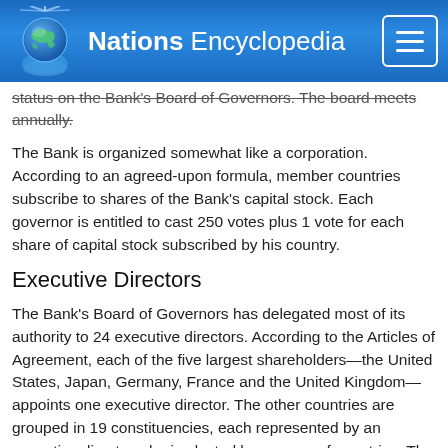Nations Encyclopedia
status on the Bank's Board of Governors. The board meets annually.
The Bank is organized somewhat like a corporation. According to an agreed-upon formula, member countries subscribe to shares of the Bank's capital stock. Each governor is entitled to cast 250 votes plus 1 vote for each share of capital stock subscribed by his country.
Executive Directors
The Bank's Board of Governors has delegated most of its authority to 24 executive directors. According to the Articles of Agreement, each of the five largest shareholders—the United States, Japan, Germany, France and the United Kingdom—appoints one executive director. The other countries are grouped in 19 constituencies, each represented by an executive director who is elected by a group of countries. The number of countries each of these 19 directors represents varies widely. For example, the executive directors for China,